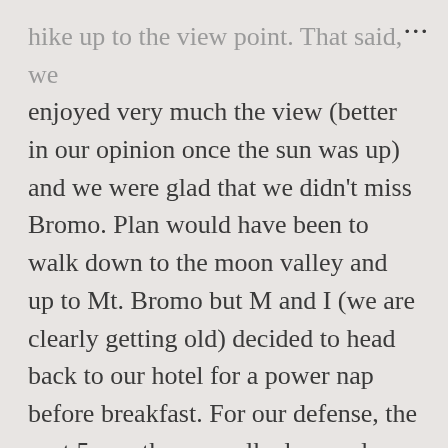hike up to the view point. That said, we enjoyed very much the view (better in our opinion once the sun was up) and we were glad that we didn't miss Bromo. Plan would have been to walk down to the moon valley and up to Mt. Bromo but M and I (we are clearly getting old) decided to head back to our hotel for a power nap before breakfast. For our defense, the past 5 months we walked up and down a fair amount of volcanoes and we didn't feel the need to breathe Bromo's toxic fumes.
Breakfast was a huge disappoint but luckily our driver took us to the office back in Probo